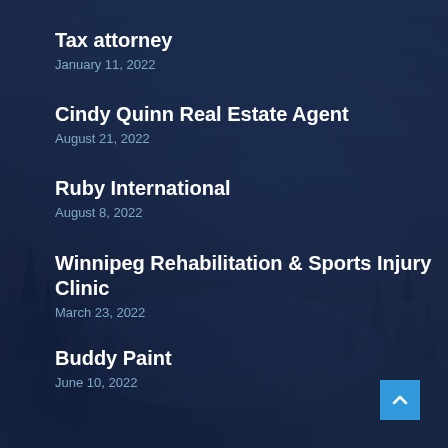Tax attorney
January 11, 2022
Cindy Quinn Real Estate Agent
August 21, 2022
Ruby International
August 8, 2022
Winnipeg Rehabilitation & Sports Injury Clinic
March 23, 2022
Buddy Paint
June 10, 2022